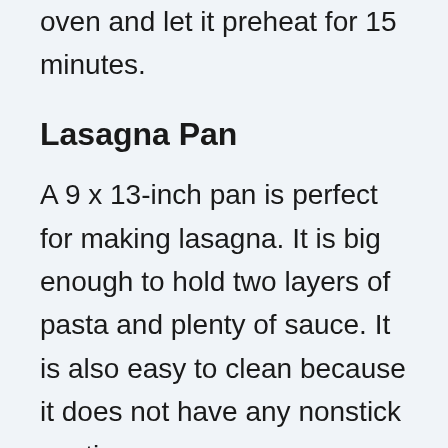bottom of the pan. Place the pan in the oven and let it preheat for 15 minutes.
Lasagna Pan
A 9 x 13-inch pan is perfect for making lasagna. It is big enough to hold two layers of pasta and plenty of sauce. It is also easy to clean because it does not have any nonstick coating.